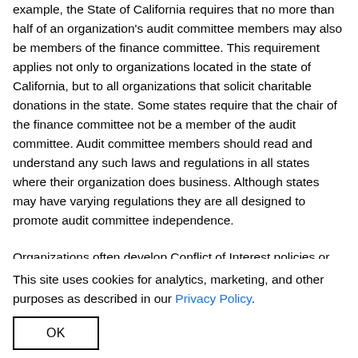example, the State of California requires that no more than half of an organization's audit committee members may also be members of the finance committee. This requirement applies not only to organizations located in the state of California, but to all organizations that solicit charitable donations in the state. Some states require that the chair of the finance committee not be a member of the audit committee. Audit committee members should read and understand any such laws and regulations in all states where their organization does business. Although states may have varying regulations they are all designed to promote audit committee independence.
Organizations often develop Conflict of Interest policies or Statements of Independence that must be signed annually by members of not only the audit committee, but the board and
This site uses cookies for analytics, marketing, and other purposes as described in our Privacy Policy.
OK